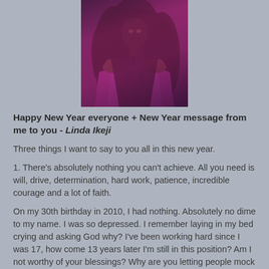[Figure (photo): Photo of a woman in a purple/magenta dress with long dark hair]
Happy New Year everyone + New Year message from me to you - Linda Ikeji
Three things I want to say to you all in this new year.
1. There's absolutely nothing you can't achieve. All you need is will, drive, determination, hard work, patience, incredible courage and a lot of faith.
On my 30th birthday in 2010, I had nothing. Absolutely no dime to my name. I was so depressed. I remember laying in my bed crying and asking God why? I've been working hard since I was 17, how come 13 years later I'm still in this position? Am I not worthy of your blessings? Why are you letting people mock me, feel sorry for me, disrespect me and